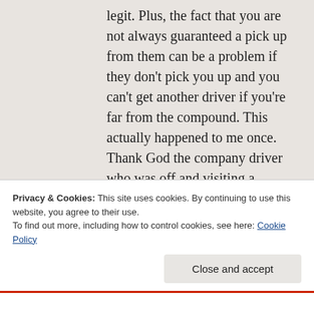legit. Plus, the fact that you are not always guaranteed a pick up from them can be a problem if they don't pick you up and you can't get another driver if you're far from the compound. This actually happened to me once. Thank God the company driver who was off and visiting a friend was a kind man, so he came to pick me up after I had tried to reach the personal driver for over an hour with no response.
For me, reading, writing and watching movies were my relaxing activities. I would have liked to get out and do more of
Privacy & Cookies: This site uses cookies. By continuing to use this website, you agree to their use.
To find out more, including how to control cookies, see here: Cookie Policy